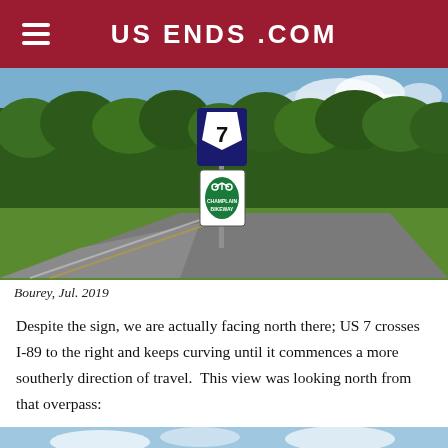US ENDS .COM
[Figure (photo): Road sign showing US Route 7 with a Champlain Bikeway sign beneath it, on a pole beside a curving road lined with dense green trees and grass, blue sky with clouds in background.]
Bourey, Jul. 2019
Despite the sign, we are actually facing north there; US 7 crosses I-89 to the right and keeps curving until it commences a more southerly direction of travel.  This view was looking north from that overpass:
[Figure (photo): Partial view of a road scene looking north from an overpass, with trees and open sky visible.]